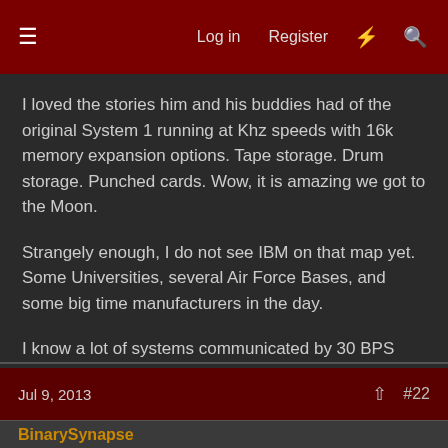Log in  Register  #  Search
I loved the stories him and his buddies had of the original System 1 running at Khz speeds with 16k memory expansion options. Tape storage. Drum storage. Punched cards. Wow, it is amazing we got to the Moon.

Strangely enough, I do not see IBM on that map yet. Some Universities, several Air Force Bases, and some big time manufacturers in the day.

I know a lot of systems communicated by 30 BPS teletype back in that time frame. 300 baud modems were the next big thing.

Don
Jul 9, 2013  #22
BinarySynapse